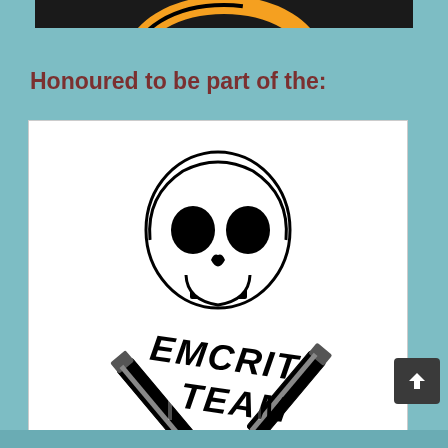[Figure (illustration): Partial top image — dark background with orange arc/logo element visible at top, partially cropped]
Honoured to be part of the:
[Figure (logo): EMCrit Team logo — black and white illustration of a skull with two crossed writing instruments (pen/syringe and knife/scalpel), with bold distressed text reading EMCRIT TEAM below]